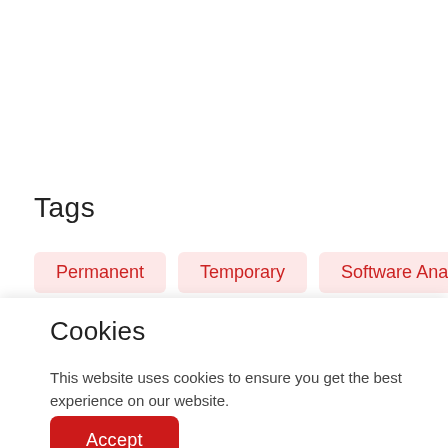Tags
Permanent
Temporary
Software Analyst
Cookies
This website uses cookies to ensure you get the best experience on our website.
Accept